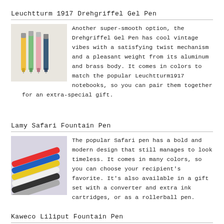Leuchtturm 1917 Drehgriffel Gel Pen
[Figure (photo): Photo of four slim gel pens in different colors (yellow, green, pink, dark blue) standing upright against a light beige background]
Another super-smooth option, the Drehgriffel Gel Pen has cool vintage vibes with a satisfying twist mechanism and a pleasant weight from its aluminum and brass body. It comes in colors to match the popular Leuchtturm1917 notebooks, so you can pair them together for an extra-special gift.
Lamy Safari Fountain Pen
[Figure (photo): Photo of several Lamy Safari fountain pens in various colors (red, blue, yellow, white, black, grey) arranged diagonally on a light purple/lavender background]
The popular Safari pen has a bold and modern design that still manages to look timeless. It comes in many colors, so you can choose your recipient's favorite. It's also available in a gift set with a converter and extra ink cartridges, or as a rollerball pen.
Kaweco Liliput Fountain Pen